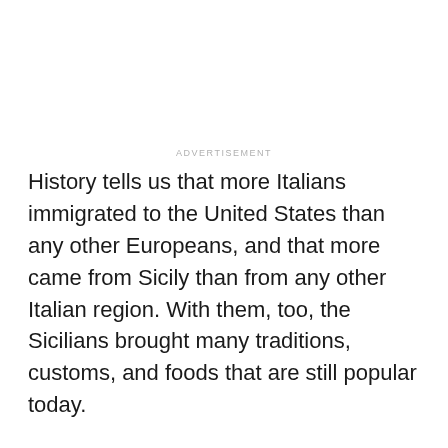ADVERTISEMENT
History tells us that more Italians immigrated to the United States than any other Europeans, and that more came from Sicily than from any other Italian region. With them, too, the Sicilians brought many traditions, customs, and foods that are still popular today.
One such food is the cannoli, a Sicilian pastry dessert. Historically, these “little tubes” were filled with ricotta cheese and eaten before Lent, but today they are a year-round staple of Italian-American dessert menus.